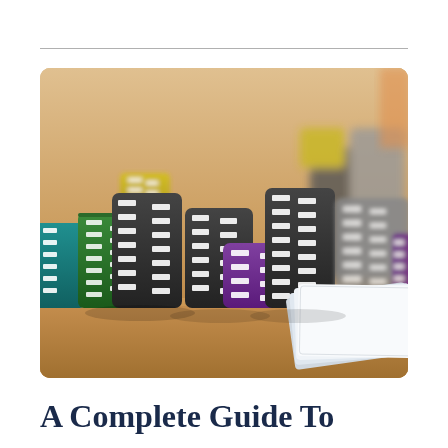[Figure (photo): Stacks of casino poker chips (black, white, green, purple, yellow, teal) arranged on a wooden table surface, with a deck of cards visible on the right side. Background is blurred showing more chip stacks.]
A Complete Guide To